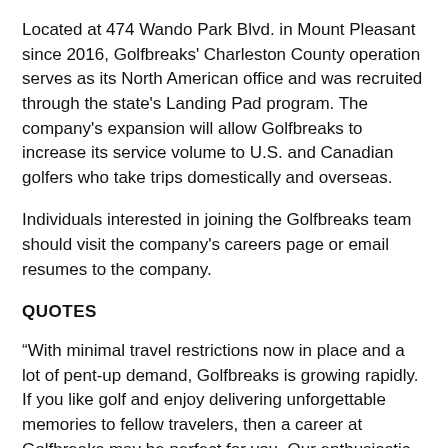Located at 474 Wando Park Blvd. in Mount Pleasant since 2016, Golfbreaks' Charleston County operation serves as its North American office and was recruited through the state's Landing Pad program. The company's expansion will allow Golfbreaks to increase its service volume to U.S. and Canadian golfers who take trips domestically and overseas.
Individuals interested in joining the Golfbreaks team should visit the company's careers page or email resumes to the company.
QUOTES
“With minimal travel restrictions now in place and a lot of pent-up demand, Golfbreaks is growing rapidly. If you like golf and enjoy delivering unforgettable memories to fellow travelers, then a career at Golfbreaks may be perfect for you. Our enthusiastic and vibrant team in Mount Pleasant is on a very exciting journey with our partners at the PGA TOUR.” - Golfbreaks by PGA TOUR CEO Daniel Grave